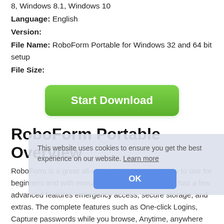8, Windows 8.1, Windows 10
Language: English
Version:
File Name: RoboForm Portable for Windows 32 and 64 bit setup
File Size:
[Figure (other): Green 'Start Download' button]
RoboForm Portable Overview
RoboForm is a great all-rounder, feature rich, easy to use for beginners and with enough features for experts. It has a few advanced features emergency access, secure storage, and extras. The complete features such as One-click Logins, Capture passwords while you browse, Anytime, anywhere access, Keep your passwords in
This website uses cookies to ensure you get the best experience on our website. Learn more
[Figure (other): Blue 'OK' button for cookie consent]